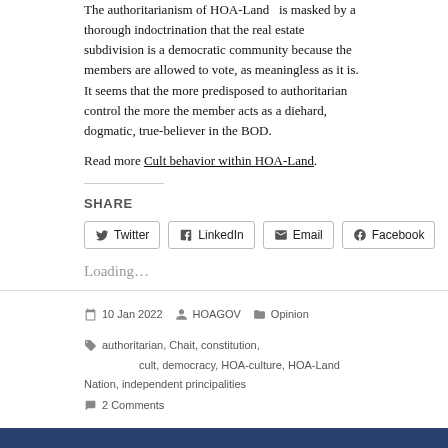The authoritarianism of HOA-Land is masked by a thorough indoctrination that the real estate subdivision is a democratic community because the members are allowed to vote, as meaningless as it is. It seems that the more predisposed to authoritarian control the more the member acts as a diehard, dogmatic, true-believer in the BOD.
Read more Cult behavior within HOA-Land.
SHARE
Twitter  LinkedIn  Email  Facebook
Loading...
10 Jan 2022  HOAGOV  Opinion  authoritarian, Chait, constitution, cult, democracy, HOA-culture, HOA-Land Nation, independent principalities  2 Comments